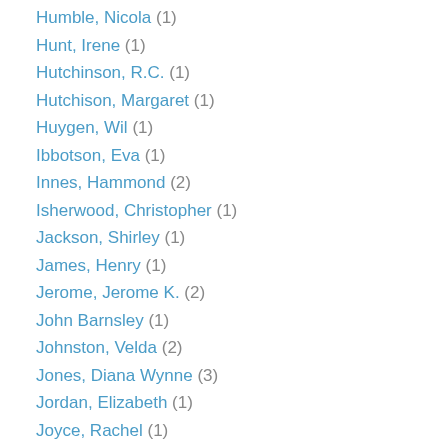Humble, Nicola (1)
Hunt, Irene (1)
Hutchinson, R.C. (1)
Hutchison, Margaret (1)
Huygen, Wil (1)
Ibbotson, Eva (1)
Innes, Hammond (2)
Isherwood, Christopher (1)
Jackson, Shirley (1)
James, Henry (1)
Jerome, Jerome K. (2)
John Barnsley (1)
Johnston, Velda (2)
Jones, Diana Wynne (3)
Jordan, Elizabeth (1)
Joyce, Rachel (1)
Kaye, M.M. (1)
Kennedy, Des (1)
Keyes, Frances Parkinson (1)
Kimbrough, Emily (1)